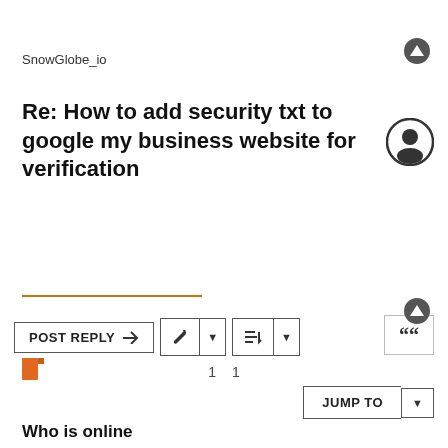SnowGlobe_io
Re: How to add security txt to google my business website for verification
Who is online